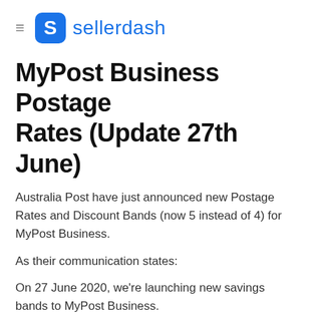sellerdash
MyPost Business Postage Rates (Update 27th June)
Australia Post have just announced new Postage Rates and Discount Bands (now 5 instead of 4) for MyPost Business.
As their communication states:
On 27 June 2020, we're launching new savings bands to MyPost Business.
What's changing:
• We're introducing the new Band 5. This will allow businesses who send more than 320 qualifying parcels in